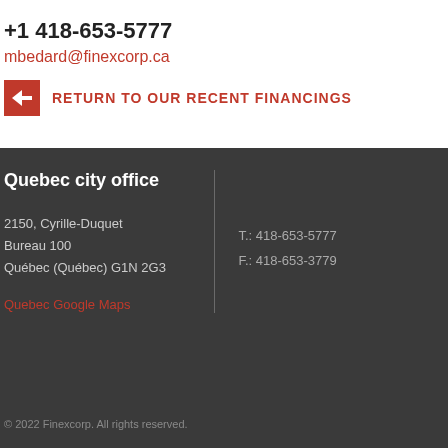+1 418-653-5777
mbedard@finexcorp.ca
RETURN TO OUR RECENT FINANCINGS
Quebec city office
2150, Cyrille-Duquet
Bureau 100
Québec (Québec) G1N 2G3
Quebec Google Maps
T.: 418-653-5777
F.: 418-653-3779
© 2022 Finexcorp. All rights reserved.